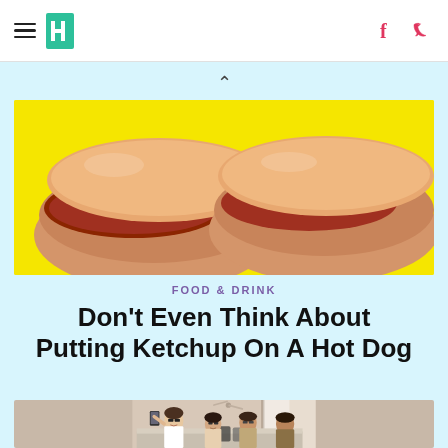HuffPost navigation with hamburger menu, HuffPost logo, Facebook and Twitter icons
[Figure (photo): Two hot dogs with ketchup and mustard on a bright yellow background, photographed from above/close-up]
FOOD & DRINK
Don't Even Think About Putting Ketchup On A Hot Dog
[Figure (photo): Group of young women taking a selfie while lounging on a couch indoors, smiling and wearing sunglasses]